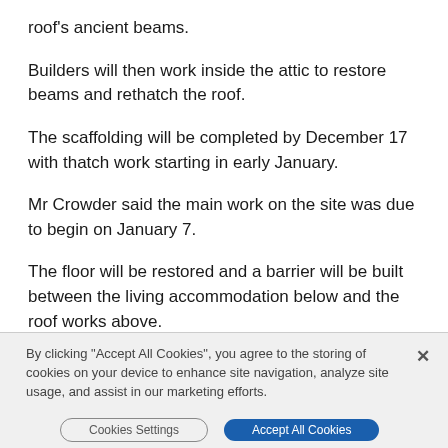roof's ancient beams.
Builders will then work inside the attic to restore beams and rethatch the roof.
The scaffolding will be completed by December 17 with thatch work starting in early January.
Mr Crowder said the main work on the site was due to begin on January 7.
The floor will be restored and a barrier will be built between the living accommodation below and the roof works above.
Repair work to the building, which has one of the last
By clicking "Accept All Cookies", you agree to the storing of cookies on your device to enhance site navigation, analyze site usage, and assist in our marketing efforts.